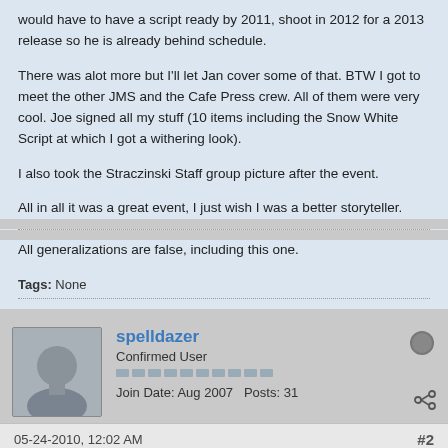would have to have a script ready by 2011, shoot in 2012 for a 2013 release so he is already behind schedule.
There was alot more but I'll let Jan cover some of that. BTW I got to meet the other JMS and the Cafe Press crew. All of them were very cool. Joe signed all my stuff (10 items including the Snow White Script at which I got a withering look).
I also took the Straczinski Staff group picture after the event.
All in all it was a great event, I just wish I was a better storyteller.
All generalizations are false, including this one.
Tags: None
spelldazer
Confirmed User
Join Date: Aug 2007   Posts: 31
05-24-2010, 12:02 AM
#2
Originally posted by AstroBoy